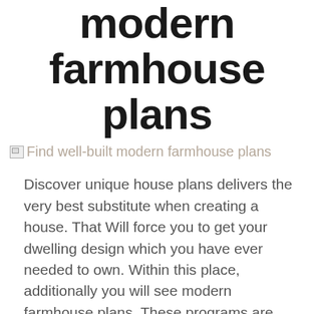modern farmhouse plans
Find well-built modern farmhouse plans
Discover unique house plans delivers the very best substitute when creating a house. That Will force you to get your dwelling design which you have ever needed to own. Within this place, additionally you will see modern farmhouse plans. These programs are publication and Designed to supply customers having a wonderful destination for a store their cars . Customers who've